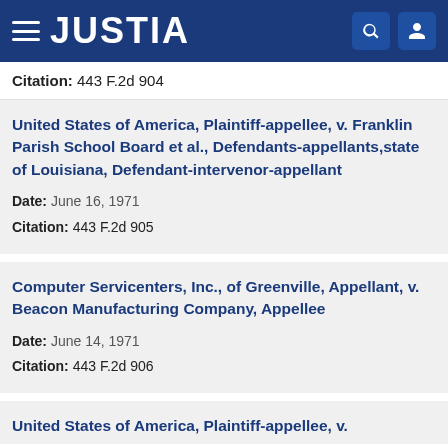JUSTIA
Citation: 443 F.2d 904
United States of America, Plaintiff-appellee, v. Franklin Parish School Board et al., Defendants-appellants,state of Louisiana, Defendant-intervenor-appellant
Date: June 16, 1971
Citation: 443 F.2d 905
Computer Servicenters, Inc., of Greenville, Appellant, v. Beacon Manufacturing Company, Appellee
Date: June 14, 1971
Citation: 443 F.2d 906
United States of America, Plaintiff-appellee, v.